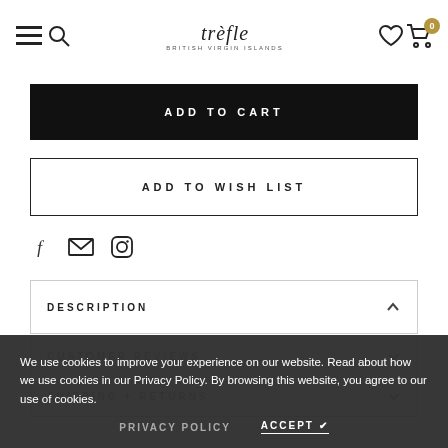trèfle — British Virgin Islands navigation bar with menu, search, logo, wishlist, cart icons
ADD TO CART
ADD TO WISH LIST
[Figure (illustration): Social share icons: Facebook (f), Email (envelope), Instagram (camera)]
DESCRIPTION
CUSTOMER REVIEWS
SHIPPING + RETURNS
We use cookies to improve your experience on our website. Read about how we use cookies in our Privacy Policy. By browsing this website, you agree to our use of cookies.
PRIVACY POLICY    ACCEPT ✔